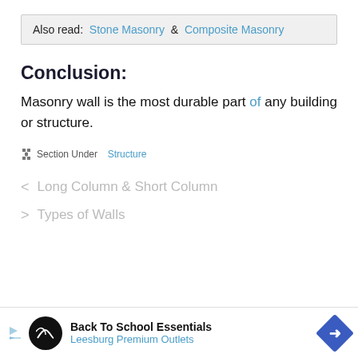Also read: Stone Masonry & Composite Masonry
Conclusion:
Masonry wall is the most durable part of any building or structure.
Section Under Structure
‹ Long Column & Short Column
› Types of Walls
Back To School Essentials Leesburg Premium Outlets